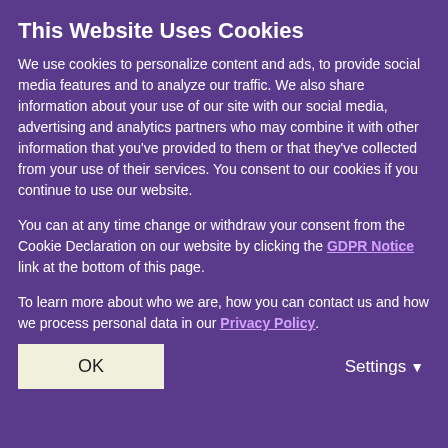This Website Uses Cookies
We use cookies to personalize content and ads, to provide social media features and to analyze our traffic. We also share information about your use of our site with our social media, advertising and analytics partners who may combine it with other information that you've provided to them or that they've collected from your use of their services. You consent to our cookies if you continue to use our website.
You can at any time change or withdraw your consent from the Cookie Declaration on our website by clicking the GDPR Notice link at the bottom of this page.
To learn more about who we are, how you can contact us and how we process personal data in our Privacy Policy.
[Figure (logo): Golden stylized 'WA' logo on purple background]